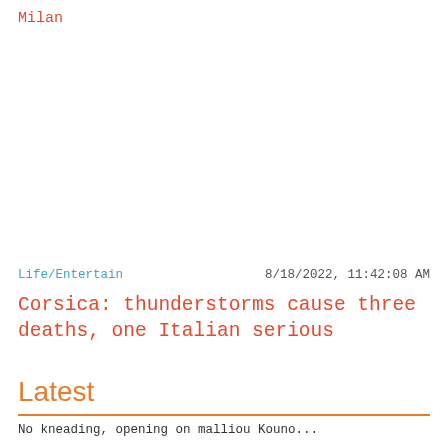Milan
Life/Entertain    8/18/2022, 11:42:08 AM
Corsica: thunderstorms cause three deaths, one Italian serious
Latest
No kneading, opening on malliou Kouno...